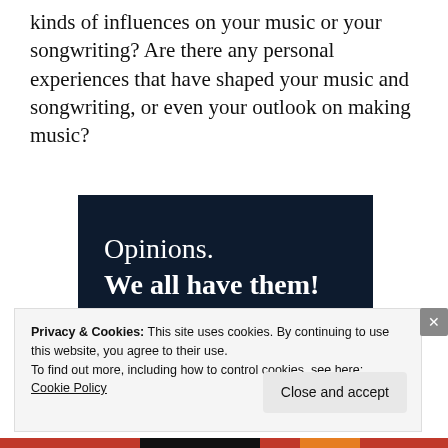kinds of influences on your music or your songwriting? Are there any personal experiences that have shaped your music and songwriting, or even your outlook on making music?
[Figure (illustration): Dark navy blue advertisement banner reading 'Opinions. We all have them!' with a pink button and grey circle in the lower portion.]
Privacy & Cookies: This site uses cookies. By continuing to use this website, you agree to their use.
To find out more, including how to control cookies, see here: Cookie Policy
Close and accept